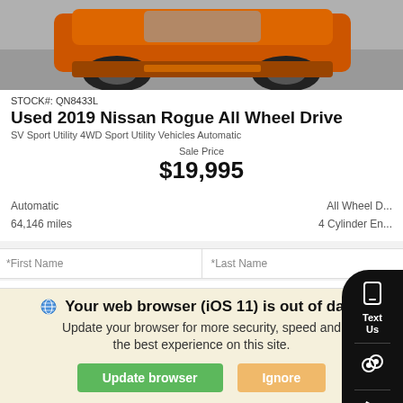[Figure (photo): Partial view of an orange/rust colored Nissan Rogue SUV from the front-bottom angle on a gray pavement background]
STOCK#: QN8433L
Used 2019 Nissan Rogue All Wheel Drive
SV Sport Utility 4WD Sport Utility Vehicles Automatic
Sale Price
$19,995
Automatic
64,146 miles
All Wheel D...
4 Cylinder En...
*First Name	*Last Name
*Email
Phone
Tell us more about your inquiry
Your web browser (iOS 11) is out of date.
Update your browser for more security, speed and the best experience on this site.
Update browser  Ignore